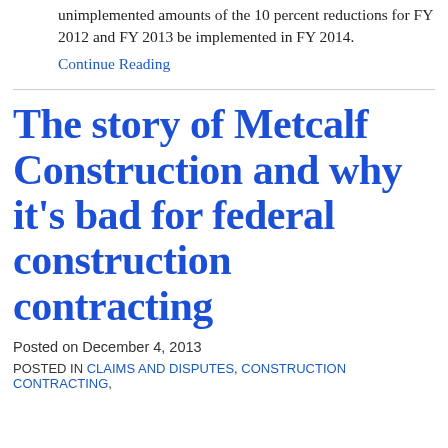unimplemented amounts of the 10 percent reductions for FY 2012 and FY 2013 be implemented in FY 2014.
Continue Reading
The story of Metcalf Construction and why it’s bad for federal construction contracting
Posted on December 4, 2013
POSTED IN CLAIMS AND DISPUTES, CONSTRUCTION CONTRACTING,